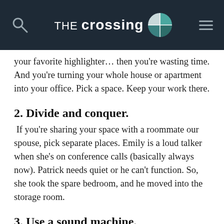THE crossing
your favorite highlighter… then you're wasting time. And you're turning your whole house or apartment into your office. Pick a space. Keep your work there.
2. Divide and conquer.
If you're sharing your space with a roommate our spouse, pick separate places. Emily is a loud talker when she's on conference calls (basically always now). Patrick needs quiet or he can't function. So, she took the spare bedroom, and he moved into the storage room.
3. Use a sound machine.
If you don't work alone, turn on a sound machine. That way you don't have to feel guilty when your